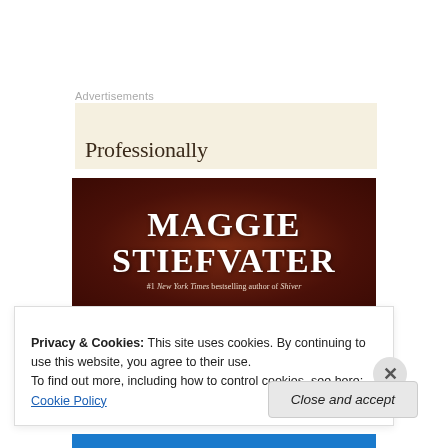Advertisements
[Figure (other): Partial advertisement banner with beige background showing truncated text 'Professionally']
[Figure (other): Book advertisement for Maggie Stiefvater on dark red textured background with text: MAGGIE STIEFVATER, #1 New York Times bestselling author of Shiver]
Privacy & Cookies: This site uses cookies. By continuing to use this website, you agree to their use.
To find out more, including how to control cookies, see here: Cookie Policy
Close and accept